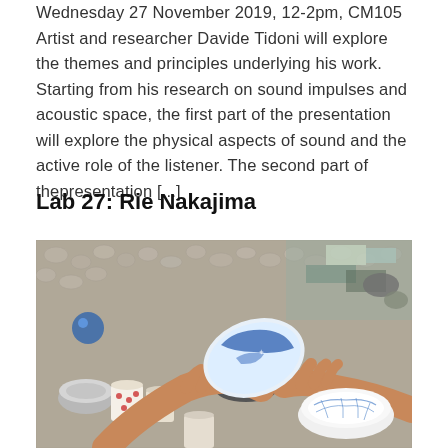Wednesday 27 November 2019, 12-2pm, CM105 Artist and researcher Davide Tidoni will explore the themes and principles underlying his work. Starting from his research on sound impulses and acoustic space, the first part of the presentation will explore the physical aspects of sound and the active role of the listener. The second part of thepresentation [...]
Lab 27: Rie Nakajima
[Figure (photo): Photograph of a person's hands holding and tilting a blue and white ceramic bowl over a metal cup, surrounded by various small bowls, tins, and metal objects on a mosaic tile floor.]